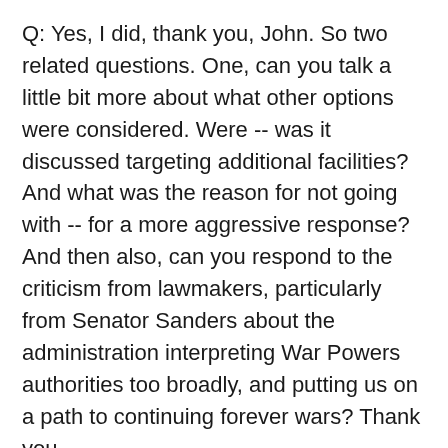Q: Yes, I did, thank you, John. So two related questions. One, can you talk a little bit more about what other options were considered. Were -- was it discussed targeting additional facilities? And what was the reason for not going with -- for a more aggressive response? And then also, can you respond to the criticism from lawmakers, particularly from Senator Sanders about the administration interpreting War Powers authorities too broadly, and putting us on a path to continuing forever wars? Thank you.
MR. KIRBY: Okay. So your first question, again, I won't get into discussing here from the podium